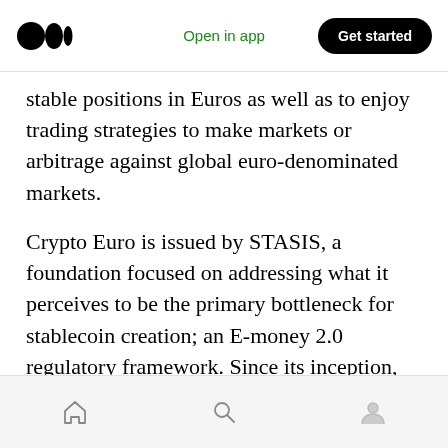Medium logo | Open in app | Get started
stable positions in Euros as well as to enjoy trading strategies to make markets or arbitrage against global euro-denominated markets.
Crypto Euro is issued by STASIS, a foundation focused on addressing what it perceives to be the primary bottleneck for stablecoin creation; an E-money 2.0 regulatory framework. Since its inception, our team has been working with regulatory bodies to help them develop blockchain regulations that reduce uncertainty for companies while protecting consumers and ecosystem stakeholders
Home | Search | Profile